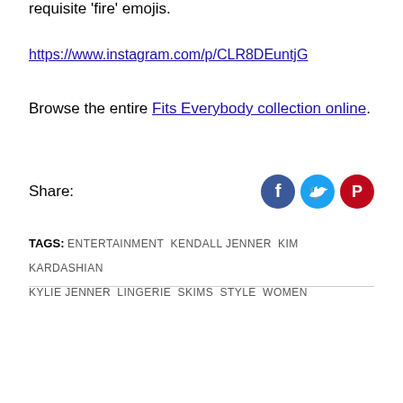requisite 'fire' emojis.
https://www.instagram.com/p/CLR8DEuntjG
Browse the entire Fits Everybody collection online.
Share:
TAGS: ENTERTAINMENT  KENDALL JENNER  KIM KARDASHIAN  KYLIE JENNER  LINGERIE  SKIMS  STYLE  WOMEN